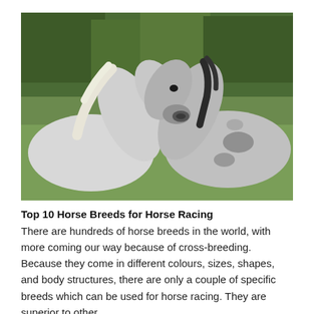[Figure (photo): Two white/grey horses facing each other nose-to-nose in a grassy field, appearing to nuzzle or touch muzzles.]
Top 10 Horse Breeds for Horse Racing
There are hundreds of horse breeds in the world, with more coming our way because of cross-breeding. Because they come in different colours, sizes, shapes, and body structures, there are only a couple of specific breeds which can be used for horse racing. They are superior to other breeds in some ways, and they have the qualities that make them the best breeds for horse racing.